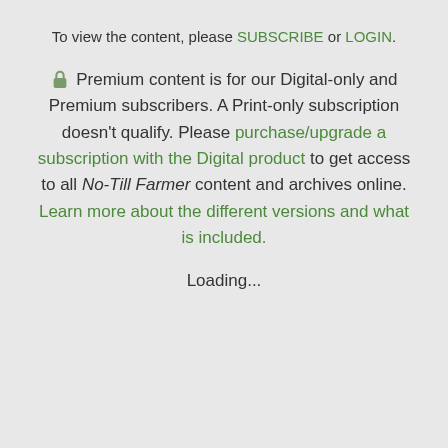To view the content, please SUBSCRIBE or LOGIN.
🔒 Premium content is for our Digital-only and Premium subscribers. A Print-only subscription doesn't qualify. Please purchase/upgrade a subscription with the Digital product to get access to all No-Till Farmer content and archives online. Learn more about the different versions and what is included.
Loading...